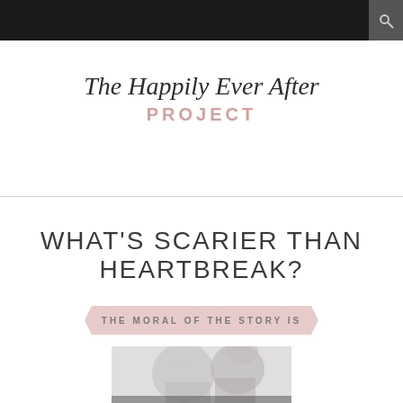The Happily Ever After PROJECT
WHAT'S SCARIER THAN HEARTBREAK?
THE MORAL OF THE STORY IS
[Figure (photo): Partial photo of couple or person, grayscale/muted tones, partially visible at bottom of page]